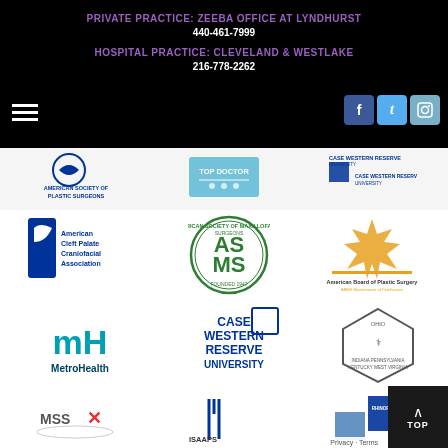PRIVATE PRACTICE: ZEEBA OFFICE AT LYNDHURST
440-461-7999
HOSPITAL PRACTICE: CLEVELAND & WESTLAKE
216-778-2262
[Figure (logo): Row of medical organization logos: American Society of Plastic Surgeons circular logo, Top Doctor badge, Case Western Reserve University logo]
[Figure (logo): Row of logos: American Cleft Palate Craniofacial Association with blue pillar, American Society of Maxillofacial Surgeons green circular seal (Founded 1947), American Board of Plastic Surgery starburst logo]
[Figure (logo): Row of logos: MetroHealth teal logo, Case Western Reserve University blue text logo, Ohio/Indiana/Pennsylvania/Kentucky/West Virginia regional association pentagon logo]
[Figure (logo): Row of logos (partially visible): MSSX logo, ISAAPS logo with pillars, Rhinoplasty Society logo with blue rectangles]
Privacy · Terms